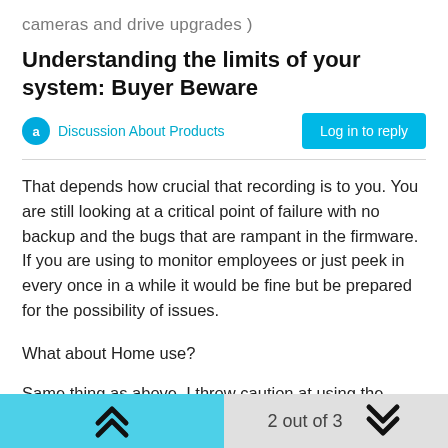cameras and drive upgrades )
Understanding the limits of your system: Buyer Beware
Discussion About Products
That depends how crucial that recording is to you. You are still looking at a critical point of failure with no backup and the bugs that are rampant in the firmware. If you are using to monitor employees or just peek in every once in a while it would be fine but be prepared for the possibility of issues.
What about Home use?
Same thing as above. I throw caution at using the windows or mac application to record video directly to
2 out of 3